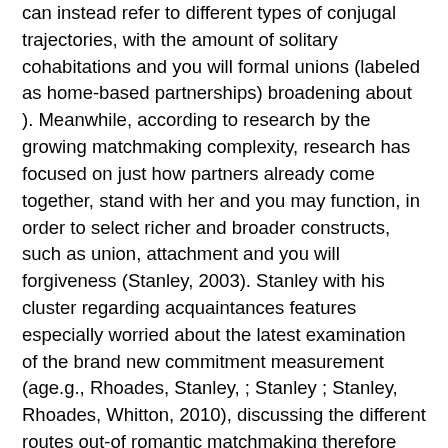can instead refer to different types of conjugal trajectories, with the amount of solitary cohabitations and you will formal unions (labeled as home-based partnerships) broadening about ). Meanwhile, according to research by the growing matchmaking complexity, research has focused on just how partners already come together, stand with her and you may function, in order to select richer and broader constructs, such as union, attachment and you will forgiveness (Stanley, 2003). Stanley with his cluster regarding acquaintances features especially worried about the latest examination of the brand new commitment measurement (age.g., Rhoades, Stanley, ; Stanley ; Stanley, Rhoades, Whitton, 2010), discussing the different routes out-of romantic matchmaking therefore the decision while making procedure off partners.
Concisely, these experts identify relationship commitment just like the « the non-public interest and